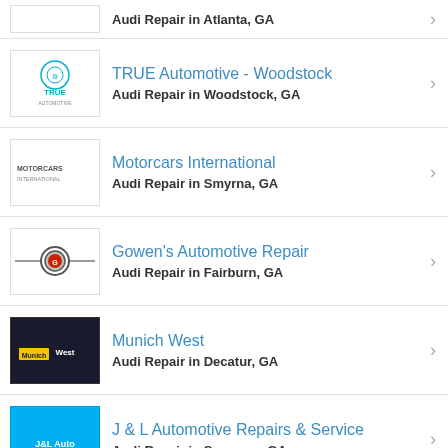Audi Repair in Atlanta, GA (partial)
TRUE Automotive - Woodstock
Audi Repair in Woodstock, GA
Motorcars International
Audi Repair in Smyrna, GA
Gowen's Automotive Repair
Audi Repair in Fairburn, GA
Munich West
Audi Repair in Decatur, GA
J & L Automotive Repairs & Service
Audi Repair in Suwanee, GA